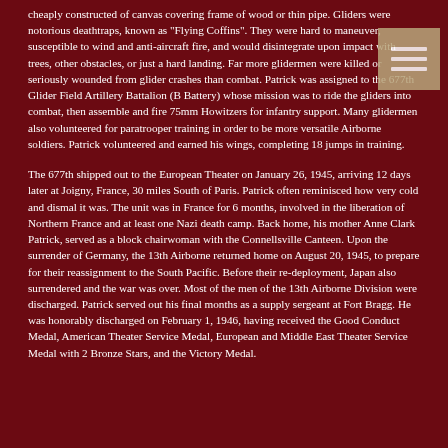cheaply constructed of canvas covering frame of wood or thin pipe. Gliders were notorious deathtraps, known as "Flying Coffins". They were hard to maneuver, susceptible to wind and anti-aircraft fire, and would disintegrate upon impact with trees, other obstacles, or just a hard landing. Far more glidermen were killed or seriously wounded from glider crashes than combat. Patrick was assigned to the 677th Glider Field Artillery Battalion (B Battery) whose mission was to ride the gliders into combat, then assemble and fire 75mm Howitzers for infantry support. Many glidermen also volunteered for paratrooper training in order to be more versatile Airborne soldiers. Patrick volunteered and earned his wings, completing 18 jumps in training.
The 677th shipped out to the European Theater on January 26, 1945, arriving 12 days later at Joigny, France, 30 miles South of Paris. Patrick often reminisced how very cold and dismal it was. The unit was in France for 6 months, involved in the liberation of Northern France and at least one Nazi death camp. Back home, his mother Anne Clark Patrick, served as a block chairwoman with the Connellsville Canteen. Upon the surrender of Germany, the 13th Airborne returned home on August 20, 1945, to prepare for their reassignment to the South Pacific. Before their re-deployment, Japan also surrendered and the war was over. Most of the men of the 13th Airborne Division were discharged. Patrick served out his final months as a supply sergeant at Fort Bragg. He was honorably discharged on February 1, 1946, having received the Good Conduct Medal, American Theater Service Medal, European and Middle East Theater Service Medal with 2 Bronze Stars, and the Victory Medal.